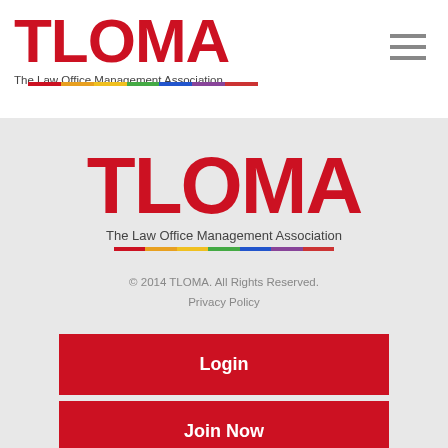[Figure (logo): TLOMA logo with tagline 'The Law Office Management Association' and colorful underline bar in top navigation bar]
[Figure (logo): TLOMA logo with tagline 'The Law Office Management Association' and colorful underline bar, centered in main content area]
© 2014 TLOMA. All Rights Reserved.
Privacy Policy
Login
Join Now
Law Firm Marketing | Cubicle Fugitive